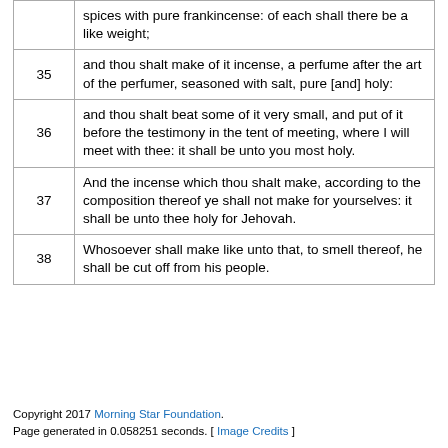|  | spices with pure frankincense: of each shall there be a like weight; |
| 35 | and thou shalt make of it incense, a perfume after the art of the perfumer, seasoned with salt, pure [and] holy: |
| 36 | and thou shalt beat some of it very small, and put of it before the testimony in the tent of meeting, where I will meet with thee: it shall be unto you most holy. |
| 37 | And the incense which thou shalt make, according to the composition thereof ye shall not make for yourselves: it shall be unto thee holy for Jehovah. |
| 38 | Whosoever shall make like unto that, to smell thereof, he shall be cut off from his people. |
Copyright 2017 Morning Star Foundation. Page generated in 0.058251 seconds. [ Image Credits ]